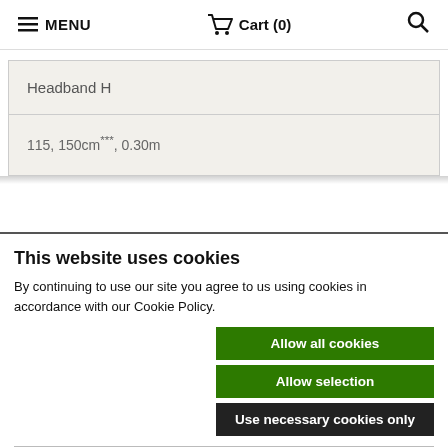≡ MENU   🛒 Cart (0)   🔍
| Headband H |
| 115, 150cm***, 0.30m |
This website uses cookies
By continuing to use our site you agree to us using cookies in accordance with our Cookie Policy.
Allow all cookies
Allow selection
Use necessary cookies only
Necessary  ✓ Preferences  ✓ Statistics  Marketing  |  Show details ∨